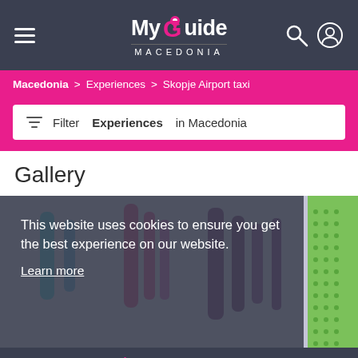MyGuide MACEDONIA
Macedonia > Experiences > Skopje Airport taxi
Filter Experiences in Macedonia
Gallery
[Figure (photo): Gallery image showing colorful tools/items on a blurred background with a semi-transparent dark overlay containing cookie consent message: 'This website uses cookies to ensure you get the best experience on our website. Learn more' and a 'Got it!' button]
Reserve Your Experience
Skopje Airport taxi
BOOK NOW